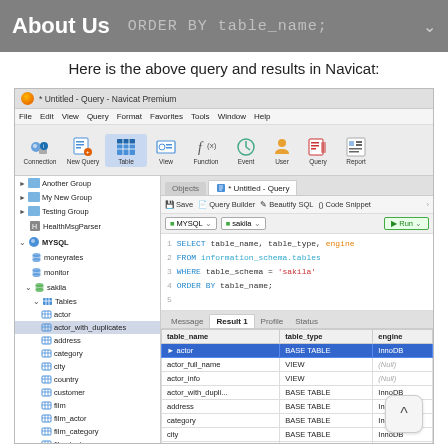About Us   ORDER BY table_name;
Here is the above query and results in Navicat:
[Figure (screenshot): Navicat Premium database query editor showing a SQL query: SELECT table_name, table_type, engine FROM information_schema.tables WHERE table_schema = 'sakila' ORDER BY table_name; with results showing tables from the sakila database including actor (BASE TABLE, InnoDB), actor_full_name (VIEW, Null), actor_info (VIEW, Null), actor_with_duplicates (BASE TABLE, InnoDB), address (BASE TABLE, InnoDB), category (BASE TABLE, InnoDB), city (BASE TABLE, InnoDB), country (BASE TABLE, InnoDB), customer (BASE TABLE, InnoDB), customer_list (VIEW, Null), film (BASE TABLE, InnoDB). Left panel shows database tree with MYSQL > sakila > Tables including actor, actor_with_duplicates (selected), address, category, city, country, customer, film, film_actor, film_category, film_text, inventory, language, payment.]